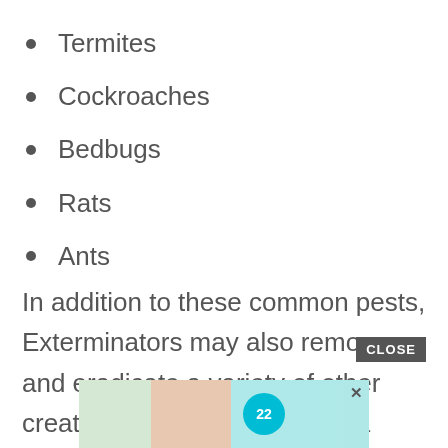Termites
Cockroaches
Bedbugs
Rats
Ants
In addition to these common pests, Exterminators may also remove and eradicate a variety of other creatures that are specific to a certain region.
[Figure (other): CLOSE button and advertisement banner at bottom of page]